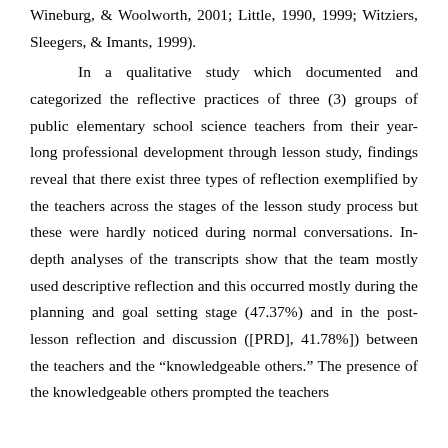Wineburg, & Woolworth, 2001; Little, 1990, 1999; Witziers, Sleegers, & Imants, 1999).
In a qualitative study which documented and categorized the reflective practices of three (3) groups of public elementary school science teachers from their year-long professional development through lesson study, findings reveal that there exist three types of reflection exemplified by the teachers across the stages of the lesson study process but these were hardly noticed during normal conversations. In-depth analyses of the transcripts show that the team mostly used descriptive reflection and this occurred mostly during the planning and goal setting stage (47.37%) and in the post-lesson reflection and discussion ([PRD], 41.78%]) between the teachers and the “knowledgeable others.” The presence of the knowledgeable others prompted the teachers